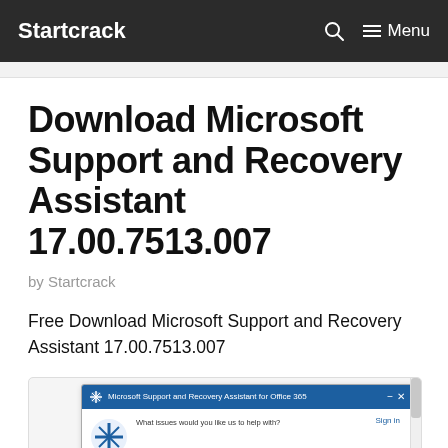Startcrack   🔍   ☰ Menu
Download Microsoft Support and Recovery Assistant 17.00.7513.007
by Startcrack
Free Download Microsoft Support and Recovery Assistant 17.00.7513.007
[Figure (screenshot): Screenshot of Microsoft Support and Recovery Assistant for Office 365 application window with blue title bar and application logo]